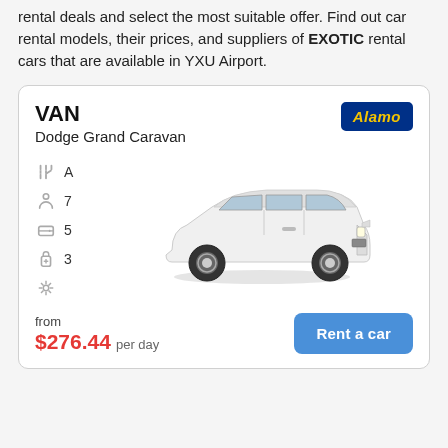rental deals and select the most suitable offer. Find out car rental models, their prices, and suppliers of EXOTIC rental cars that are available in YXU Airport.
VAN
Dodge Grand Caravan
[Figure (logo): Alamo car rental logo — yellow italic text on dark blue background]
[Figure (photo): White Dodge Grand Caravan minivan, 3/4 front view]
from $276.44 per day